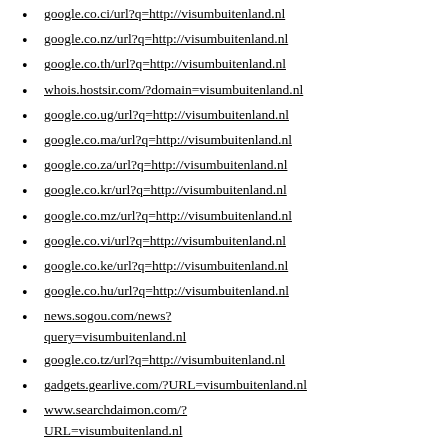google.co.ci/url?q=http://visumbuitenland.nl
google.co.nz/url?q=http://visumbuitenland.nl
google.co.th/url?q=http://visumbuitenland.nl
whois.hostsir.com/?domain=visumbuitenland.nl
google.co.ug/url?q=http://visumbuitenland.nl
google.co.ma/url?q=http://visumbuitenland.nl
google.co.za/url?q=http://visumbuitenland.nl
google.co.kr/url?q=http://visumbuitenland.nl
google.co.mz/url?q=http://visumbuitenland.nl
google.co.vi/url?q=http://visumbuitenland.nl
google.co.ke/url?q=http://visumbuitenland.nl
google.co.hu/url?q=http://visumbuitenland.nl
news.sogou.com/news?query=visumbuitenland.nl
google.co.tz/url?q=http://visumbuitenland.nl
gadgets.gearlive.com/?URL=visumbuitenland.nl
www.searchdaimon.com/?URL=visumbuitenland.nl
google.co.jp/url?q=http://visumbuitenland.nl